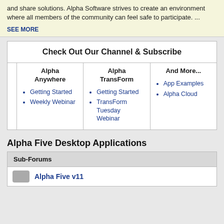and share solutions. Alpha Software strives to create an environment where all members of the community can feel safe to participate. ...
SEE MORE
| Alpha Anywhere | Alpha TransForm | And More... |
| --- | --- | --- |
| Getting Started, Weekly Webinar | Getting Started, TransForm Tuesday Webinar | App Examples, Alpha Cloud |
Alpha Five Desktop Applications
Sub-Forums
Alpha Five v11